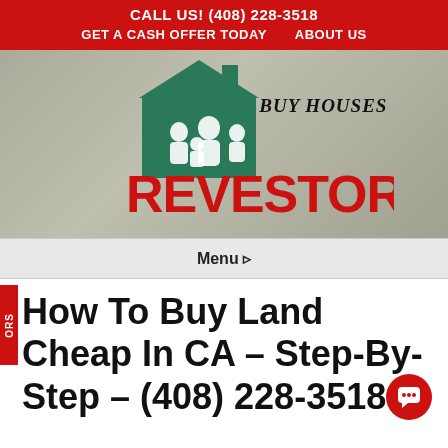CALL US! (408) 228-3518
GET A CASH OFFER TODAY    ABOUT US
[Figure (logo): Revestors logo: green house icon with family silhouette, red bold text REVESTORS, handwritten text WE BUY HOUSES CASH]
Menu ▸
How To Buy Land Cheap In CA – Step-By-Step – (408) 228-3518